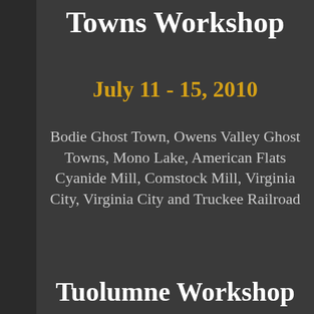Towns Workshop
July 11 - 15, 2010
Bodie Ghost Town, Owens Valley Ghost Towns, Mono Lake, American Flats Cyanide Mill, Comstock Mill, Virginia City, Virginia City and Truckee Railroad
Tuolumne Workshop